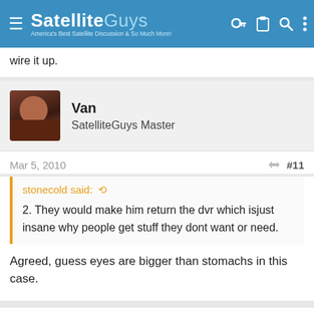SatelliteGuys — America's Best Satellite Discussion & So Much More!
wire it up.
Van
SatelliteGuys Master
Mar 5, 2010  #11
stonecold said:  2. They would make him return the dvr which isjust insane why people get stuff they dont want or need.
Agreed, guess eyes are bigger than stomachs in this case.
itzlebron